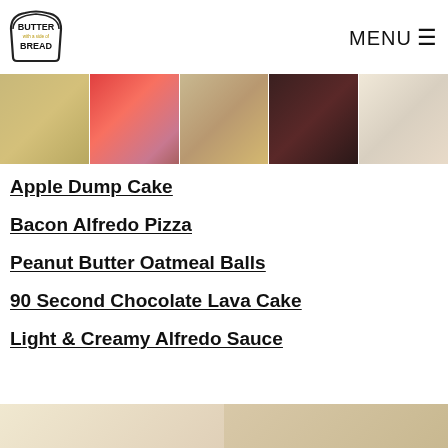[Figure (logo): Butter with a Side of Bread logo — bread slice outline with text inside]
MENU ☰
[Figure (photo): Banner strip of 5 food photos: apple dump cake, bacon alfredo pizza, peanut butter oatmeal balls, chocolate lava cake, creamy alfredo sauce]
Apple Dump Cake
Bacon Alfredo Pizza
Peanut Butter Oatmeal Balls
90 Second Chocolate Lava Cake
Light & Creamy Alfredo Sauce
[Figure (photo): Partial bottom banner showing two food photos cut off]